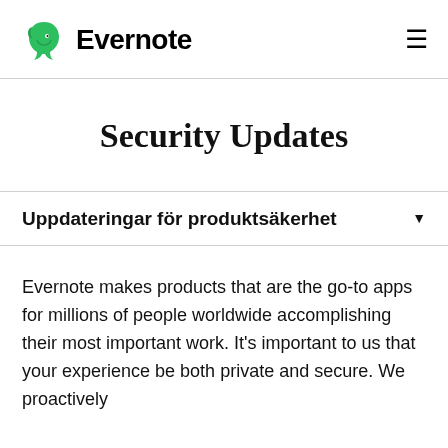Evernote
Security Updates
Uppdateringar för produktsäkerhet
Evernote makes products that are the go-to apps for millions of people worldwide accomplishing their most important work. It's important to us that your experience be both private and secure. We proactively